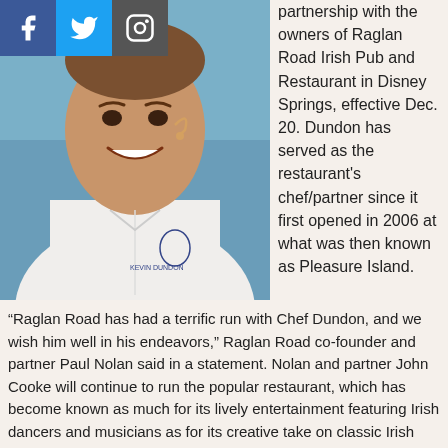[Figure (photo): Social media icons bar with Facebook (blue), Twitter (light blue), and Instagram (grey) icons]
[Figure (photo): Chef Kevin Dundon smiling, wearing a white chef's coat with a logo, with a headset microphone, photographed outdoors at an event.]
partnership with the owners of Raglan Road Irish Pub and Restaurant in Disney Springs, effective Dec. 20. Dundon has served as the restaurant's chef/partner since it first opened in 2006 at what was then known as Pleasure Island.
“Raglan Road has had a terrific run with Chef Dundon, and we wish him well in his endeavors,” Raglan Road co-founder and partner Paul Nolan said in a statement. Nolan and partner John Cooke will continue to run the popular restaurant, which has become known as much for its lively entertainment featuring Irish dancers and musicians as for its creative take on classic Irish dishes.